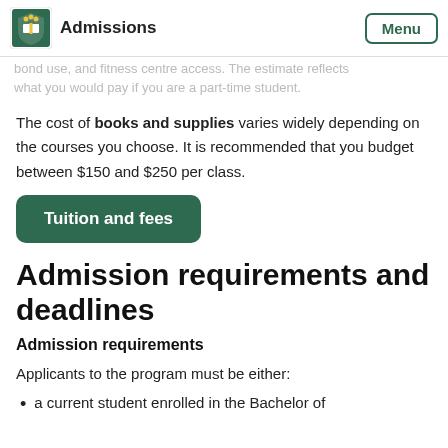Admissions | Menu
bond use, and fitness centre access. The estimate reflects what you would pay if you are a part-time student.
The cost of books and supplies varies widely depending on the courses you choose. It is recommended that you budget between $150 and $250 per class.
[Figure (other): Green button labeled 'Tuition and fees']
Admission requirements and deadlines
Admission requirements
Applicants to the program must be either:
a current student enrolled in the Bachelor of